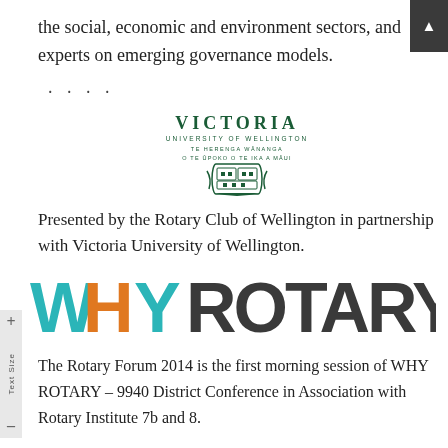the social, economic and environment sectors, and experts on emerging governance models.
[Figure (logo): Victoria University of Wellington logo with crest and Māori text]
Presented by the Rotary Club of Wellington in partnership with Victoria University of Wellington.
[Figure (logo): WHY ROTARY logo in teal, orange, and dark grey lettering]
The Rotary Forum 2014 is the first morning session of WHY ROTARY – 9940 District Conference in Association with Rotary Institute 7b and 8.